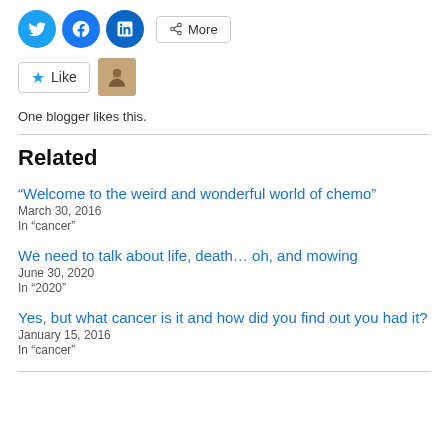[Figure (infographic): Social share buttons: Twitter, Facebook, LinkedIn circles and a More button]
[Figure (infographic): Like button with star icon and a blogger avatar thumbnail]
One blogger likes this.
Related
“Welcome to the weird and wonderful world of chemo”
March 30, 2016
In “cancer”
We need to talk about life, death… oh, and mowing
June 30, 2020
In “2020”
Yes, but what cancer is it and how did you find out you had it?
January 15, 2016
In “cancer”